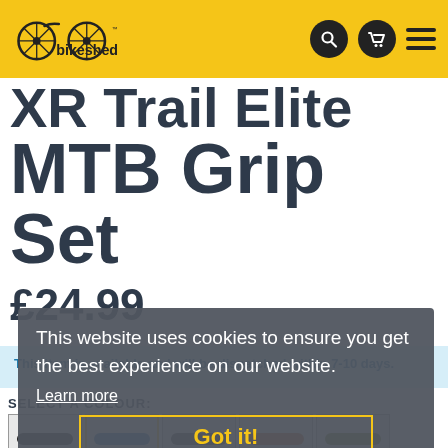[Figure (logo): Bikeshed logo on yellow header bar with search, cart, and hamburger menu icons]
XR Trail Elite MTB Grip Set
£24.99
This item is available and will be dispatched within 7-10 days.
This website uses cookies to ensure you get the best experience on our website. Learn more Got it!
SELECT A COLOUR: